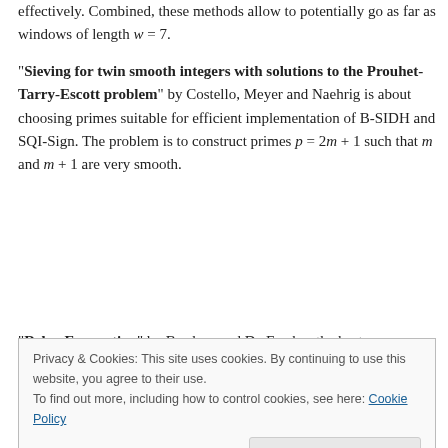effectively. Combined, these methods allow to potentially go as far as windows of length w = 7.
"Sieving for twin smooth integers with solutions to the Prouhet-Tarry-Escott problem" by Costello, Meyer and Naehrig is about choosing primes suitable for efficient implementation of B-SIDH and SQI-Sign. The problem is to construct primes p = 2m + 1 such that m and m + 1 are very smooth.
"Delay Encryption" by Burdges and De Feo has the best pre-recoded video — Watch it now! (At least, the first 5
Privacy & Cookies: This site uses cookies. By continuing to use this website, you agree to their use.
To find out more, including how to control cookies, see here: Cookie Policy
Close and accept